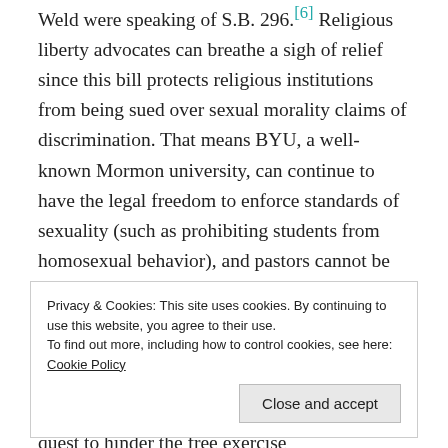Weld were speaking of S.B. 296.[6] Religious liberty advocates can breathe a sigh of relief since this bill protects religious institutions from being sued over sexual morality claims of discrimination. That means BYU, a well-known Mormon university, can continue to have the legal freedom to enforce standards of sexuality (such as prohibiting students from homosexual behavior), and pastors cannot be forced to marry couples they deem inappropriate to join in matrimony. While Johnson and Weld could probably do more to ease the concerns of religious liberty advocates, they do not appear to be on the quest to hinder the free exercise
Privacy & Cookies: This site uses cookies. By continuing to use this website, you agree to their use. To find out more, including how to control cookies, see here: Cookie Policy